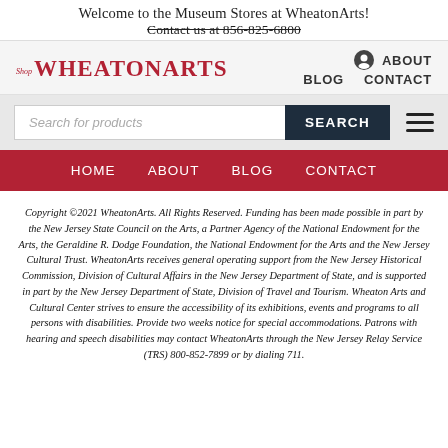Welcome to the Museum Stores at WheatonArts!
Contact us at 856-825-6800
[Figure (logo): Shop WheatonArts logo in red serif/display font]
ABOUT BLOG CONTACT
[Figure (screenshot): Search bar with 'Search for products' placeholder and SEARCH button, plus hamburger menu icon]
HOME   ABOUT   BLOG   CONTACT
Copyright ©2021 WheatonArts. All Rights Reserved. Funding has been made possible in part by the New Jersey State Council on the Arts, a Partner Agency of the National Endowment for the Arts, the Geraldine R. Dodge Foundation, the National Endowment for the Arts and the New Jersey Cultural Trust. WheatonArts receives general operating support from the New Jersey Historical Commission, Division of Cultural Affairs in the New Jersey Department of State, and is supported in part by the New Jersey Department of State, Division of Travel and Tourism. Wheaton Arts and Cultural Center strives to ensure the accessibility of its exhibitions, events and programs to all persons with disabilities. Provide two weeks notice for special accommodations. Patrons with hearing and speech disabilities may contact WheatonArts through the New Jersey Relay Service (TRS) 800-852-7899 or by dialing 711.